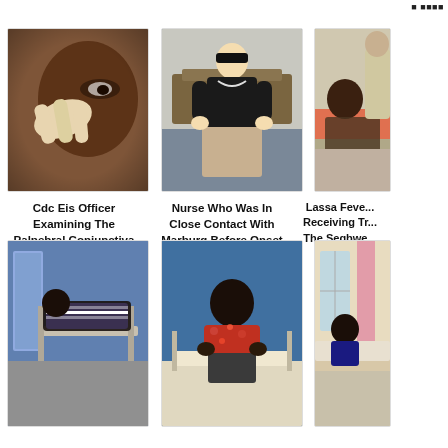...
[Figure (photo): Close-up photo of a CDC EIS officer examining the palpebral conjunctiva of a Nigerian child]
Cdc Eis Officer Examining The Palpebral Conjunctiva Of A Nigerian Child With
[Figure (photo): Photo of a nurse who was in close contact with Marburg before onset of fever, standing in a room]
Nurse Who Was In Close Contact With Marburg Before Onset Of Fever
[Figure (photo): Partial photo of Lassa Fever patient receiving treatment at the Segbwe facility in Sierra Leone]
Lassa Fever Receiving Tr... The Segbwe... Leone...
[Figure (photo): Photo of a person lying on a hospital bed in a medical facility]
[Figure (photo): Photo of a person sitting on a hospital bed in a medical facility with blue walls]
[Figure (photo): Partial photo of a medical facility with a patient and pink curtains]